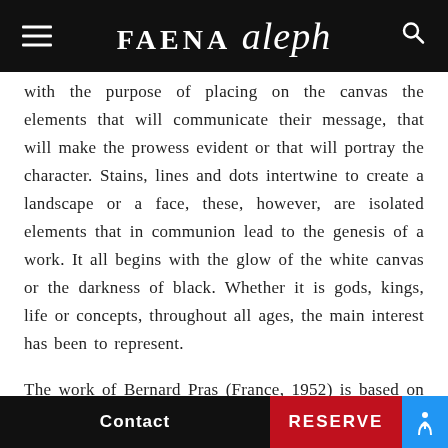FAENA aleph
with the purpose of placing on the canvas the elements that will communicate their message, that will make the prowess evident or that will portray the character. Stains, lines and dots intertwine to create a landscape or a face, these, however, are isolated elements that in communion lead to the genesis of a work. It all begins with the glow of the white canvas or the darkness of black. Whether it is gods, kings, life or concepts, throughout all ages, the main interest has been to represent.
The work of Bernard Pras (France, 1952) is based on constructions derived from everyday
Contact | RESERVE